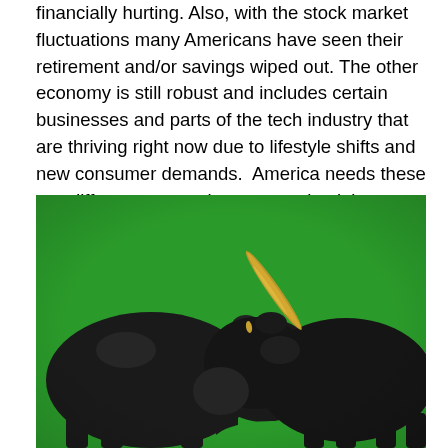financially hurting. Also, with the stock market fluctuations many Americans have seen their retirement and/or savings wiped out. The other economy is still robust and includes certain businesses and parts of the tech industry that are thriving right now due to lifestyle shifts and new consumer demands.  America needs these two different economies to come back in alignment, but that will not be an immediate process.
[Figure (photo): Two black bull/bear figurines facing each other against a green background, with gold horns visible on the right figurine.]